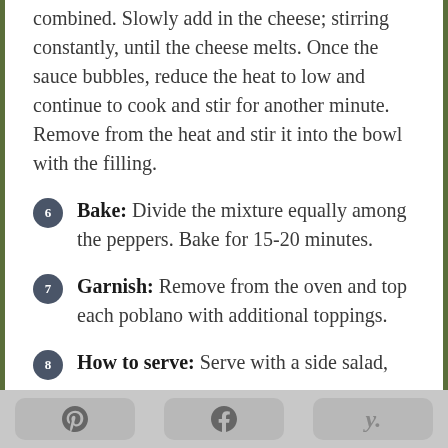combined. Slowly add in the cheese; stirring constantly, until the cheese melts. Once the sauce bubbles, reduce the heat to low and continue to cook and stir for another minute. Remove from the heat and stir it into the bowl with the filling.
6 Bake: Divide the mixture equally among the peppers. Bake for 15-20 minutes.
7 Garnish: Remove from the oven and top each poblano with additional toppings.
8 How to serve: Serve with a side salad,